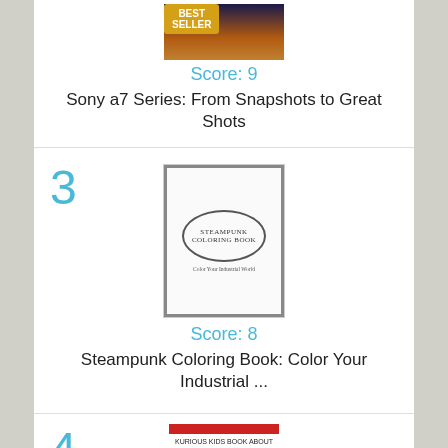[Figure (photo): Book cover photo for Sony a7 Series with Best Seller badge, showing a night scene]
Score: 9
Sony a7 Series: From Snapshots to Great Shots
3
[Figure (photo): Book cover for Steampunk Coloring Book: Color Your Industrial with ornate oval design]
Score: 8
Steampunk Coloring Book: Color Your Industrial ...
4
[Figure (photo): Book cover for Kurious Kids Book About Crying, Lying & and Sharing with colorful circular icons]